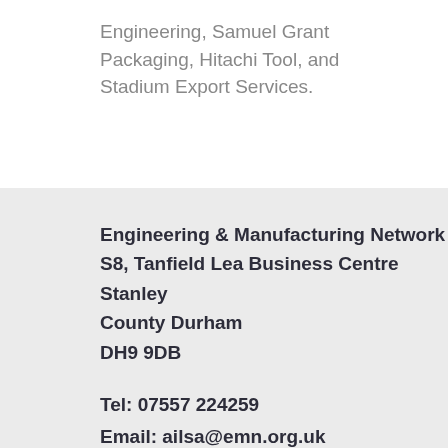Engineering, Samuel Grant Packaging, Hitachi Tool, and Stadium Export Services.
Engineering & Manufacturing Network
S8, Tanfield Lea Business Centre
Stanley
County Durham
DH9 9DB
Tel: 07557 224259
Email: ailsa@emn.org.uk
kaye@emn.org.uk
chris@emn.org.uk